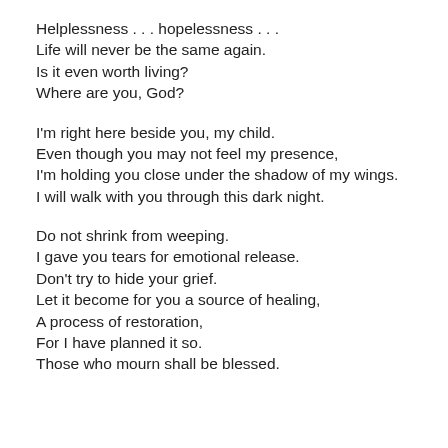Helplessness . . . hopelessness . . .
Life will never be the same again.
Is it even worth living?
Where are you, God?

I'm right here beside you, my child.
Even though you may not feel my presence,
I'm holding you close under the shadow of my wings.
I will walk with you through this dark night.

Do not shrink from weeping.
I gave you tears for emotional release.
Don't try to hide your grief.
Let it become for you a source of healing,
A process of restoration,
For I have planned it so.
Those who mourn shall be blessed.